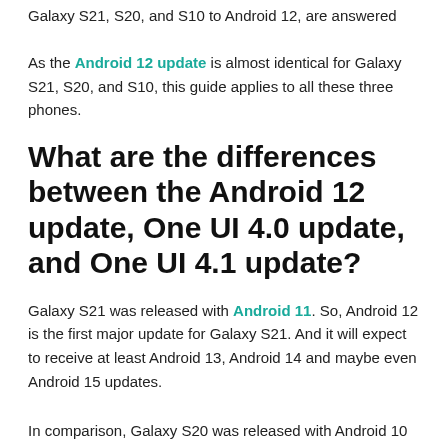Galaxy S21, S20, and S10 to Android 12, are answered
As the Android 12 update is almost identical for Galaxy S21, S20, and S10, this guide applies to all these three phones.
What are the differences between the Android 12 update, One UI 4.0 update, and One UI 4.1 update?
Galaxy S21 was released with Android 11. So, Android 12 is the first major update for Galaxy S21. And it will expect to receive at least Android 13, Android 14 and maybe even Android 15 updates.
In comparison, Galaxy S20 was released with Android 10